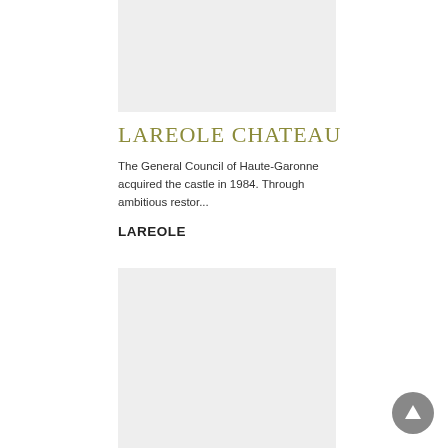[Figure (photo): Placeholder image of Lareole Chateau (top)]
LAREOLE CHATEAU
The General Council of Haute-Garonne acquired the castle in 1984. Through ambitious restor...
LAREOLE
[Figure (photo): Placeholder image of Lareole Chateau (bottom)]